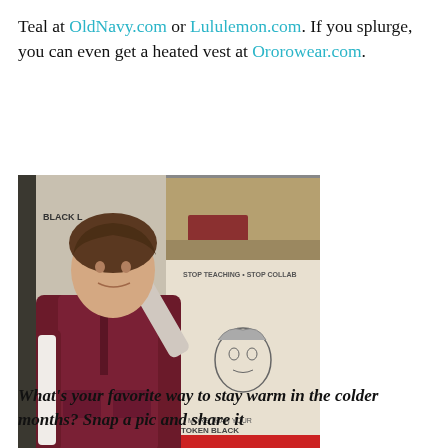Teal at OldNavy.com or Lululemon.com. If you splurge, you can even get a heated vest at Ororowear.com.
[Figure (photo): A woman wearing a dark burgundy/maroon vest and matching pants poses in front of a wall covered in street art posters, including ones reading 'MORE THAN YOUR TOKEN BLACK PERSON' and 'BE FREE' with a bird graphic.]
What's your favorite way to stay warm in the colder months? Snap a pic and share it